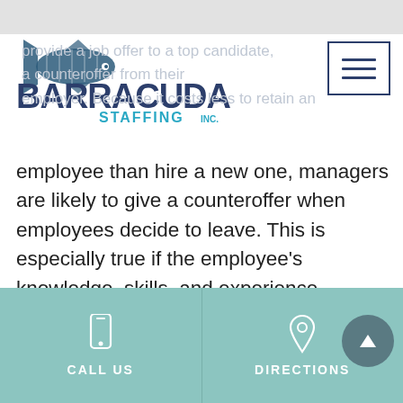[Figure (logo): Barracuda Staffing Inc. logo with fish graphic and company name in dark blue bold letters]
provide a job offer to a top candidate, a counteroffer from their employer. Because it costs less to retain an employee than hire a new one, managers are likely to give a counteroffer when employees decide to leave. This is especially true if the employee's knowledge, skills, and experience… Read More »
SHARE THIS:
[Figure (infographic): Three circular social share buttons: Facebook (blue circle with f icon), Twitter (blue circle with bird icon), LinkedIn (dark blue circle with in icon)]
CALL US   DIRECTIONS